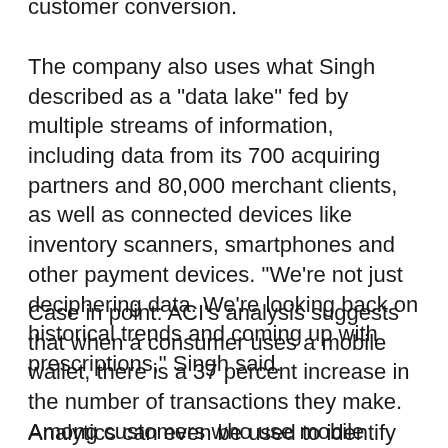customer conversion.
The company also uses what Singh described as a "data lake" fed by multiple streams of information, including data from its 700 acquiring partners and 80,000 merchant clients, as well as connected devices like inventory scanners, smartphones and other payment devices. "We're not just deciphering data. We're looking back on historical trends and coming up with prescriptions," Singh said.
Case in point: ACI's analysis suggests that when a consumer uses a mobile wallet, there is a 37 percent increase in the number of transactions they make. Among customers who use mobile wallets and BNPL, the increase is 43 percent.
Analytics can even be used to identify problems before they affect customers, for example, finding